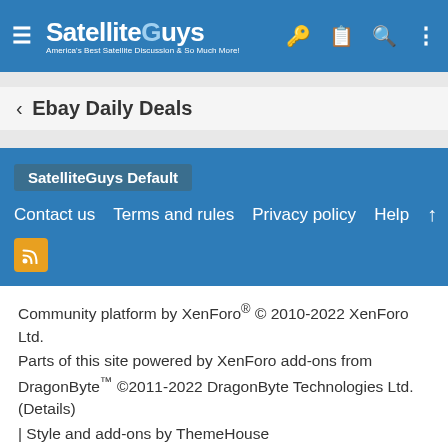SatelliteGuys — America's Best Satellite Discussion & So Much More!
‹ Ebay Daily Deals
SatelliteGuys Default
Contact us  Terms and rules  Privacy policy  Help  ↑
Community platform by XenForo® © 2010-2022 XenForo Ltd.
Parts of this site powered by XenForo add-ons from DragonByte™ ©2011-2022 DragonByte Technologies Ltd. (Details)
| Style and add-ons by ThemeHouse
The page has been loaded at: 7:18 PM
This page was generated in: 0.2133s · Queries: 96 · Memory: 12.92MB